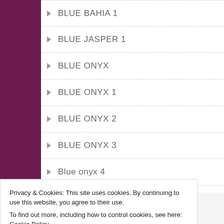BLUE BAHIA 1
BLUE JASPER 1
BLUE ONYX
BLUE ONYX 1
BLUE ONYX 2
BLUE ONYX 3
Blue onyx 4
BLUE PEARL 1
BLUE PEARL 2
Blue Pearl 4
BLUE PEARL GRANITE
Privacy & Cookies: This site uses cookies. By continuing to use this website, you agree to their use. To find out more, including how to control cookies, see here: Cookie Policy
Close and accept